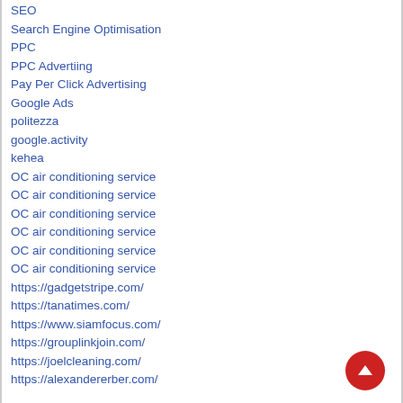SEO
Search Engine Optimisation
PPC
PPC Advertiing
Pay Per Click Advertising
Google Ads
politezza
google.activity
kehea
OC air conditioning service
OC air conditioning service
OC air conditioning service
OC air conditioning service
OC air conditioning service
OC air conditioning service
https://gadgetstripe.com/
https://tanatimes.com/
https://www.siamfocus.com/
https://grouplinkjoin.com/
https://joelcleaning.com/
https://alexandererber.com/